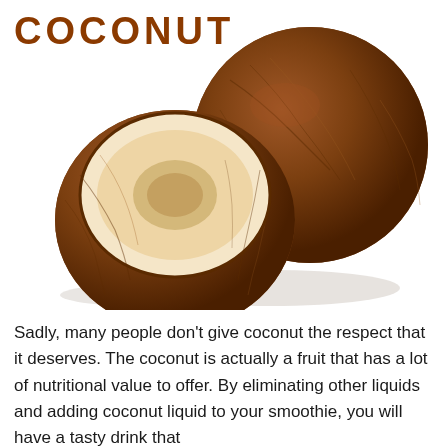COCONUT
[Figure (photo): A whole coconut and a halved coconut showing the white interior flesh, photographed on a white background with a slight shadow.]
Sadly, many people don't give coconut the respect that it deserves. The coconut is actually a fruit that has a lot of nutritional value to offer. By eliminating other liquids and adding coconut liquid to your smoothie, you will have a tasty drink that